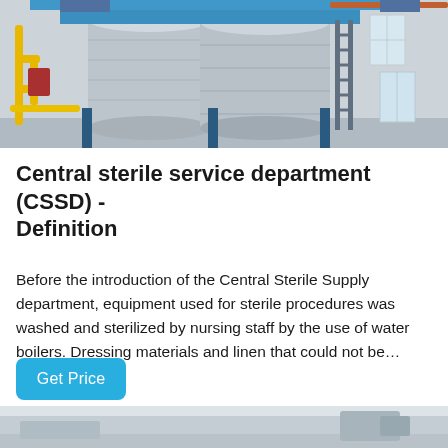[Figure (photo): Industrial sterilization equipment — large horizontal autoclave cylinders with yellow pipes and blue steel frame in a white industrial room with windows]
Central sterile service department (CSSD) - Definition
Before the introduction of the Central Sterile Supply department, equipment used for sterile procedures was washed and sterilized by nursing staff by the use of water boilers. Dressing materials and linen that could not be…
Get Price
[Figure (photo): Bottom portion of another industrial/medical sterile service department image, partially visible]